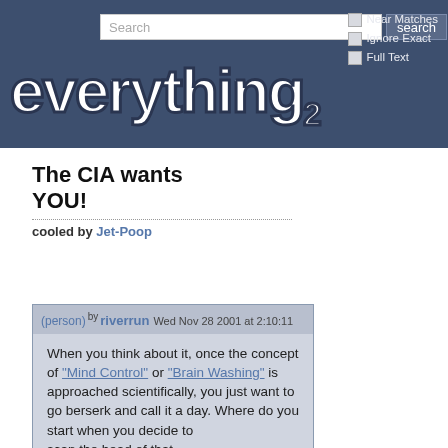Search [search button] Near Matches Ignore Exact Full Text
[Figure (logo): everything2 logo in white bold text on dark blue header]
The CIA wants YOU!
cooled by Jet-Poop
(person) by riverrun  Wed Nov 28 2001 at 2:10:11
When you think about it, once the concept of "Mind Control" or "Brain Washing" is approached scientifically, you just want to go berserk and call it a day. Where do you start when you decide to scan the head of that